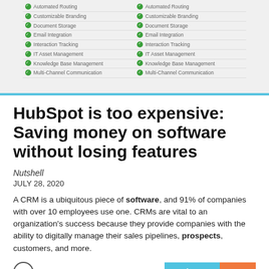[Figure (table-as-image): Two-column table showing feature checkmarks for Automated Routing, Customizable Branding, Document Storage, Email Integration, Interaction Tracking, IT Asset Management, Knowledge Base Management, Multi-Channel Communication]
HubSpot is too expensive: Saving money on software without losing features
Nutshell
JULY 28, 2020
A CRM is a ubiquitous piece of software, and 91% of companies with over 10 employees use one. CRMs are vital to an organization's success because they provide companies with the ability to digitally manage their sales pipelines, prospects, customers, and more.